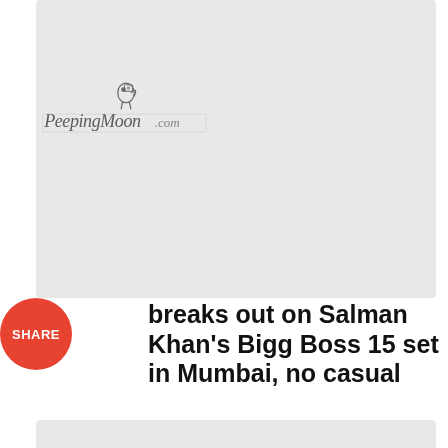[Figure (photo): Light gray placeholder image card with PeepingMoon.com logo watermark in the center]
breaks out on Salman Khan's Bigg Boss 15 set in Mumbai, no casual
[Figure (photo): Second light gray placeholder image card with PeepingMoon.com logo watermark in the center]